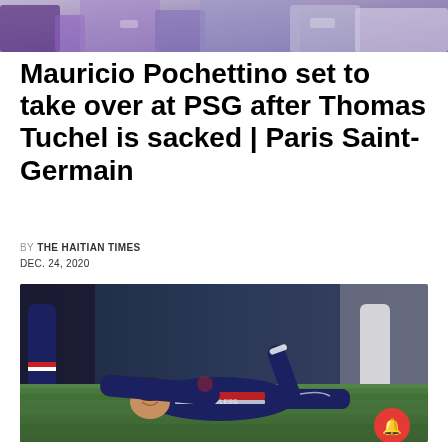[Figure (photo): Cropped top section of a sports photo showing players legs and torsos in purple and white uniforms]
Mauricio Pochettino set to take over at PSG after Thomas Tuchel is sacked | Paris Saint-Germain
BY THE HAITIAN TIMES
DEC. 24, 2020
[Figure (photo): A PSG player in a dark navy and red uniform lying on the grass field in apparent pain during a football match, with other players' legs visible around him]